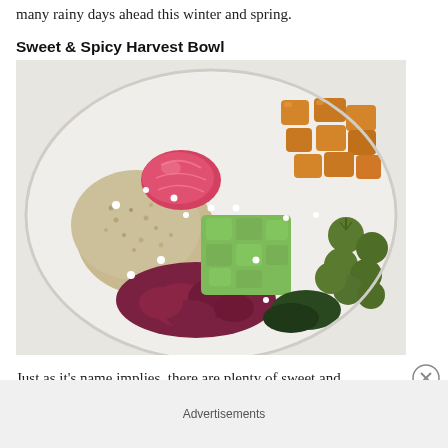many rainy days ahead this winter and spring.
Sweet & Spicy Harvest Bowl
[Figure (photo): A white bowl filled with a harvest bowl containing quinoa, sliced apple, diced avocado, roasted Brussels sprouts, roasted butternut squash, beets, and crumbled feta cheese.]
Just as it's name implies, there are plenty of sweet and
Advertisements